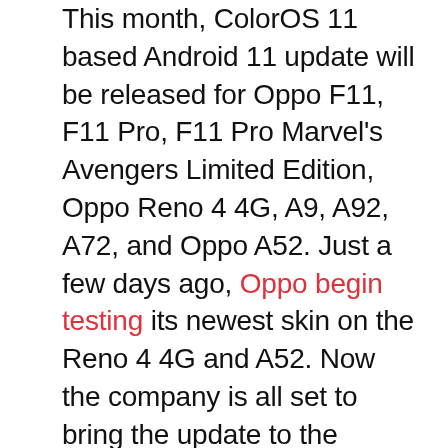This month, ColorOS 11 based Android 11 update will be released for Oppo F11, F11 Pro, F11 Pro Marvel's Avengers Limited Edition, Oppo Reno 4 4G, A9, A92, A72, and Oppo A52. Just a few days ago, Oppo begin testing its newest skin on the Reno 4 4G and A52. Now the company is all set to bring the update to the pending six phones. ColorOS 11 based Android 11 beta access will go live for the afore-listed six Oppo smartphones by the end of this month.